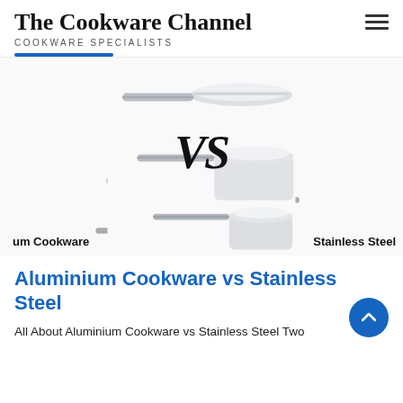The Cookware Channel
COOKWARE SPECIALISTS
[Figure (illustration): Comparison image showing aluminium cookware set with red knobs on the left and stainless steel pans on the right, with large italic 'VS' text in the center. Labels: 'um Cookware' (left, partially cropped) and 'Stainless Steel' (right).]
Aluminium Cookware vs Stainless Steel
All About Aluminium Cookware vs Stainless Steel Two